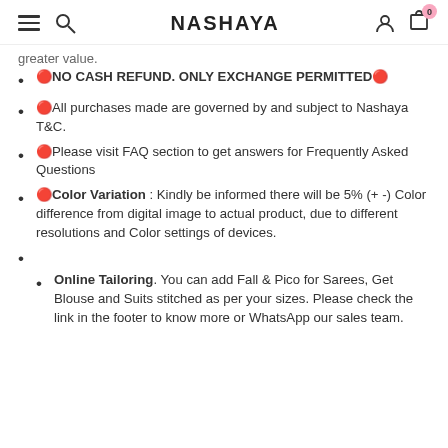NASHAYA
greater value.
🔴NO CASH REFUND. ONLY EXCHANGE PERMITTED🔴
🔴All purchases made are governed by and subject to Nashaya T&C.
🔴Please visit FAQ section to get answers for Frequently Asked Questions
🔴Color Variation : Kindly be informed there will be 5% (+ -) Color difference from digital image to actual product, due to different resolutions and Color settings of devices.
Online Tailoring. You can add Fall & Pico for Sarees, Get Blouse and Suits stitched as per your sizes. Please check the link in the footer to know more or WhatsApp our sales team.